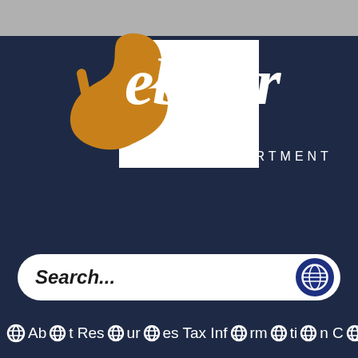[Figure (logo): Webster Police Department logo with stylized W in orange/gold on white background, text 'Webster' in white serif font and 'POLICE DEPARTMENT' in white sans-serif below]
[Figure (screenshot): Search bar with 'Search...' placeholder text in bold italic and a globe/world icon button on the right]
About Resources Tax Information Code Enfor...